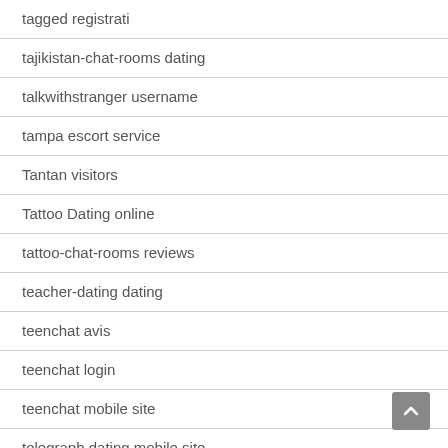tagged registrati
tajikistan-chat-rooms dating
talkwithstranger username
tampa escort service
Tantan visitors
Tattoo Dating online
tattoo-chat-rooms reviews
teacher-dating dating
teenchat avis
teenchat login
teenchat mobile site
telegraph dating mobile site
telegraph dating preise